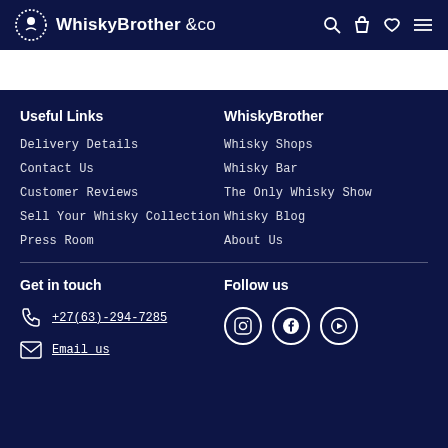WhiskyBrother &co
Useful Links
Delivery Details
Contact Us
Customer Reviews
Sell Your Whisky Collection
Press Room
WhiskyBrother
Whisky Shops
Whisky Bar
The Only Whisky Show
Whisky Blog
About Us
Get in touch
+27(63)-294-7285
Email us
Follow us